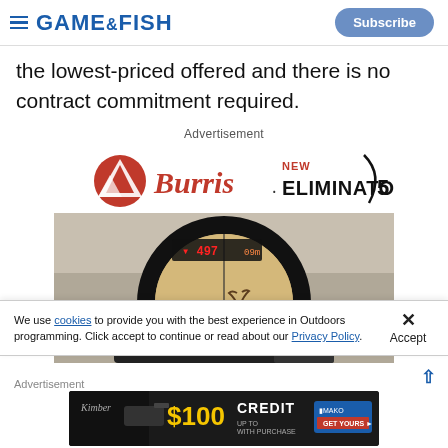GAME&FISH — Subscribe
the lowest-priced offered and there is no contract commitment required.
Advertisement
[Figure (photo): Burris Eliminator 5 scope advertisement showing a rifle scope view of an elk in a field with digital rangefinder readout showing 497 yards]
We use cookies to provide you with the best experience in Outdoors programming. Click accept to continue or read about our Privacy Policy.
Advertisement
[Figure (photo): Kimber pistol advertisement with $100 credit with purchase offer and MAKO logo]